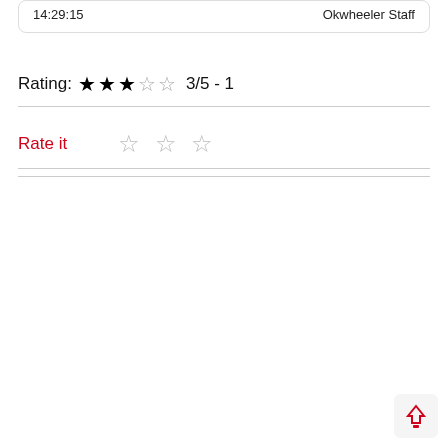14:29:15
Okwheeler Staff
Rating: ★★★☆☆ 3/5 - 1
Rate it ☆ ☆ ☆